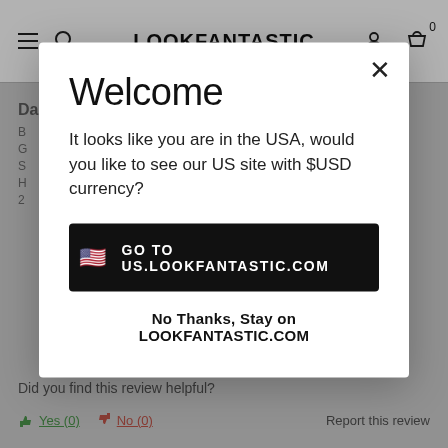LOOKFANTASTIC
Daughter loves it! ★★★★
Welcome
It looks like you are in the USA, would you like to see our US site with $USD currency?
🇺🇸 GO TO US.LOOKFANTASTIC.COM
No Thanks, Stay on LOOKFANTASTIC.COM
Did you find this review helpful?
👍 Yes (0)
👎 No (0)
Report this review